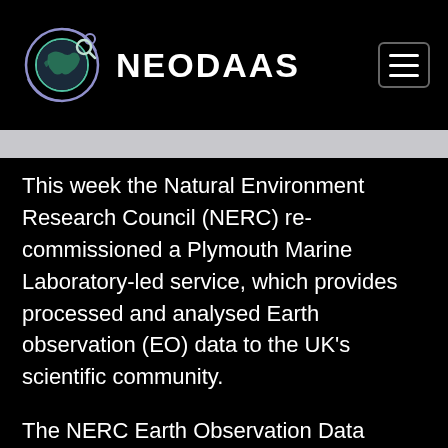[Figure (logo): NEODAAS logo: globe with orbital ring and magnifier icon, teal/green gradient, with 'NEODAAS' text in white bold capitals]
This week the Natural Environment Research Council (NERC) re-commissioned a Plymouth Marine Laboratory-led service, which provides processed and analysed Earth observation (EO) data to the UK's scientific community.
The NERC Earth Observation Data Acquisition and Analysis Service (NEODAAS) is a unique operation of